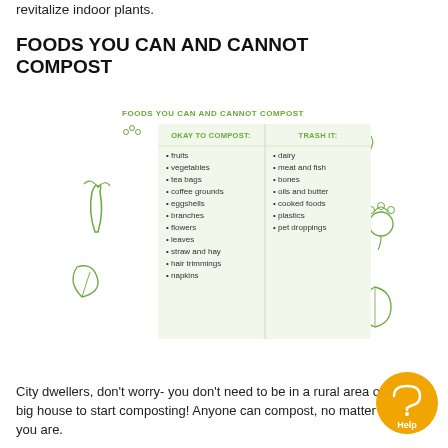revitalize indoor plants.
FOODS YOU CAN AND CANNOT COMPOST
[Figure (infographic): Infographic table showing foods you can and cannot compost. Left column (OKAY TO COMPOST): fruits, vegetables, tea bags, coffee grounds, eggshells, branches, flowers, leaves, straw and hay, hair trimmings, napkins. Right column (TRASH IT): dairy, meat and fish, bones, oils and butter, cooked foods, plastics, pet droppings. Surrounded by green vegetable/fruit illustrations.]
City dwellers, don't worry- you don't need to be in a rural area or a big house to start composting! Anyone can compost, no matter where you are.